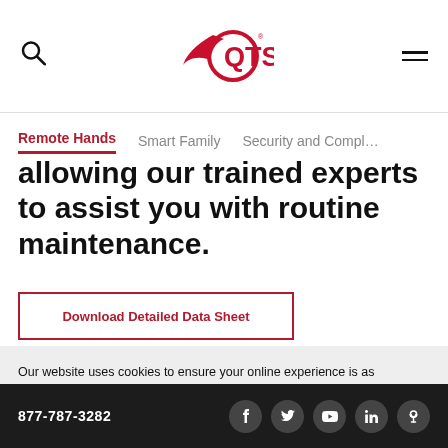QTS logo, search icon, menu icon
Remote Hands | Smart Family | Security and Compliance
allowing our trained experts to assist you with routine maintenance.
Download Detailed Data Sheet
Our website uses cookies to ensure your online experience is as informative and relevant as possible. Please review our privacy policy to learn more about the information we collect. Do you consent to our use of cookies?
I accept
877-787-3282